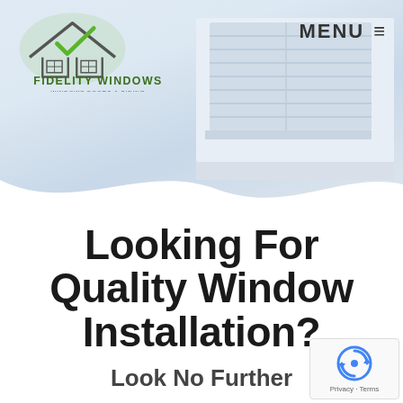[Figure (logo): Fidelity Windows logo with house/roof outline and green checkmark, text 'FIDELITY WINDOWS' and 'WINDOWS DOORS & SIDING']
MENU ≡
[Figure (illustration): Background hero image of window blinds/shutters in a light blue-gray gradient with wave shape at bottom]
Looking For Quality Window Installation?
Look No Further
[Figure (other): Google reCAPTCHA badge with circular arrow icon and 'Privacy - Terms' text]